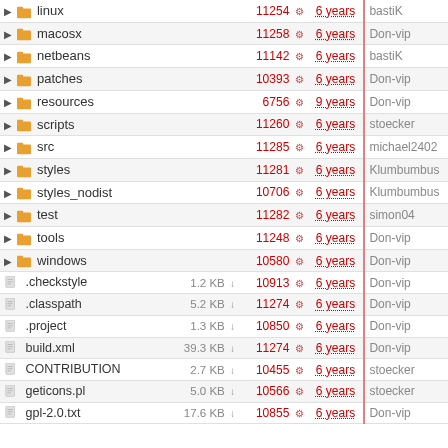| Name | Size | Rev | Age | Author |
| --- | --- | --- | --- | --- |
| linux |  | 11254 | 6 years | bastiK |
| macosx |  | 11258 | 6 years | Don-vip |
| netbeans |  | 11142 | 6 years | bastiK |
| patches |  | 10393 | 6 years | Don-vip |
| resources |  | 6756 | 9 years | Don-vip |
| scripts |  | 11260 | 6 years | stoecker |
| src |  | 11285 | 6 years | michael2402 |
| styles |  | 11281 | 6 years | Klumbumbus |
| styles_nodist |  | 10706 | 6 years | Klumbumbus |
| test |  | 11282 | 6 years | simon04 |
| tools |  | 11248 | 6 years | Don-vip |
| windows |  | 10580 | 6 years | Don-vip |
| .checkstyle | 1.2 KB | 10913 | 6 years | Don-vip |
| .classpath | 5.2 KB | 11274 | 6 years | Don-vip |
| .project | 1.3 KB | 10850 | 6 years | Don-vip |
| build.xml | 39.3 KB | 11274 | 6 years | Don-vip |
| CONTRIBUTION | 2.7 KB | 10455 | 6 years | stoecker |
| geticons.pl | 5.0 KB | 10566 | 6 years | stoecker |
| gpl-2.0.txt | 17.6 KB | 10855 | 6 years | Don-vip |